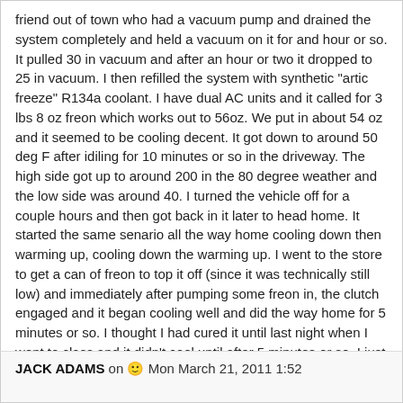friend out of town who had a vacuum pump and drained the system completely and held a vacuum on it for and hour or so. It pulled 30 in vacuum and after an hour or two it dropped to 25 in vacuum. I then refilled the system with synthetic "artic freeze" R134a coolant. I have dual AC units and it called for 3 lbs 8 oz freon which works out to 56oz. We put in about 54 oz and it seemed to be cooling decent. It got down to around 50 deg F after idiling for 10 minutes or so in the driveway. The high side got up to around 200 in the 80 degree weather and the low side was around 40. I turned the vehicle off for a couple hours and then got back in it later to head home. It started the same senario all the way home cooling down then warming up, cooling down the warming up. I went to the store to get a can of freon to top it off (since it was technically still low) and immediately after pumping some freon in, the clutch engaged and it began cooling well and did the way home for 5 minutes or so. I thought I had cured it until last night when I went to class and it didn't cool until after 5 minutes or so. I just changed the AC relay in case that was bad but its still doing the same thing. Can anyone please provide feedback on what I should do next? 😒
JACK ADAMS on 🙂 Mon March 21, 2011 1:52